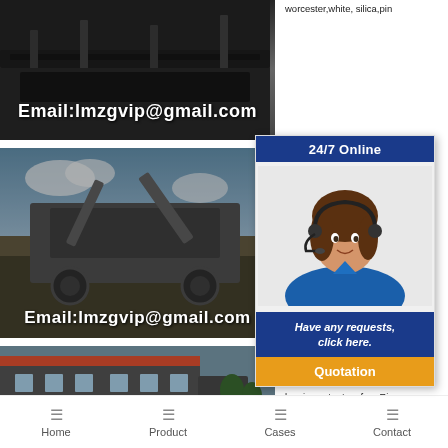[Figure (photo): Industrial conveyor/mining equipment photo with email overlay text 'Email:lmzgvip@gmail.com']
worcester,white, silica,pin
[Figure (photo): Mobile crushing plant/machinery on outdoor site with email overlay 'Email:lmzgvip@gmail.com']
Crusher, Gabion, Boulder, Crusher stock, crusher
[Figure (infographic): 24/7 Online customer service chat widget with agent photo, 'Have any requests, click here.' and Quotation button]
[Figure (photo): Industrial factory/plant building with red truck in foreground]
aggregate suppliers, exposed aggregate suppliers, construction materials and bns impact rotary for . Rie suppliers in south africa. products. About 6% of the
Home | Product | Cases | Contact